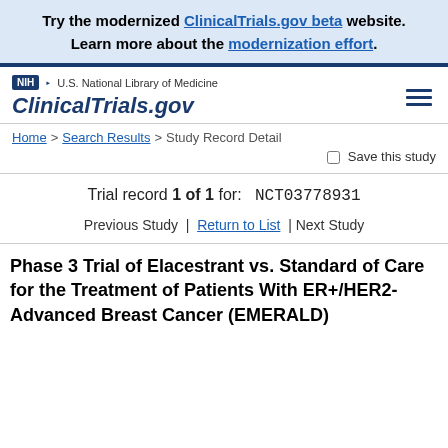Try the modernized ClinicalTrials.gov beta website. Learn more about the modernization effort.
[Figure (logo): NIH U.S. National Library of Medicine ClinicalTrials.gov logo with hamburger menu icon]
Home > Search Results > Study Record Detail
Save this study
Trial record 1 of 1 for:    NCT03778931
Previous Study | Return to List | Next Study
Phase 3 Trial of Elacestrant vs. Standard of Care for the Treatment of Patients With ER+/HER2-Advanced Breast Cancer (EMERALD)